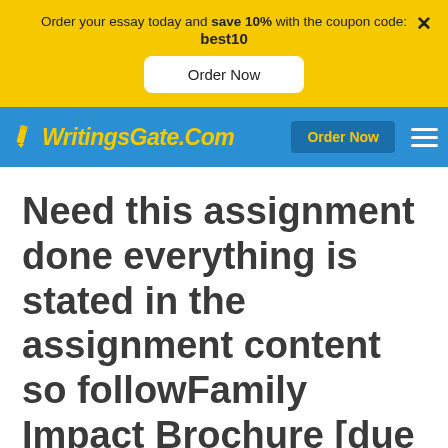Order your essay today and save 10% with the coupon code: best10
Order Now
[Figure (logo): WritingsGate.Com logo with pencil icon on blue navigation bar, with Order Now button and hamburger menu]
Need this assignment done everything is stated in the assignment content so followFamily Impact Brochure [due Mon]Assignment Content